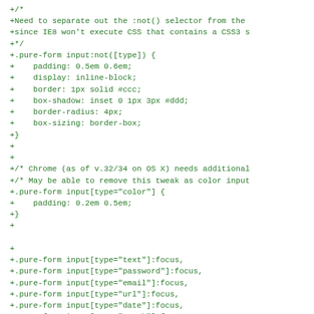+/*
+Need to separate out the :not() selector from the
+since IE8 won't execute CSS that contains a CSS3 s
+*/
+.pure-form input:not([type]) {
+    padding: 0.5em 0.6em;
+    display: inline-block;
+    border: 1px solid #ccc;
+    box-shadow: inset 0 1px 3px #ddd;
+    border-radius: 4px;
+    box-sizing: border-box;
+}
+
+
+/* Chrome (as of v.32/34 on OS X) needs additional
+/* May be able to remove this tweak as color input
+.pure-form input[type="color"] {
+    padding: 0.2em 0.5em;
+}
+
+
+.pure-form input[type="text"]:focus,
+.pure-form input[type="password"]:focus,
+.pure-form input[type="email"]:focus,
+.pure-form input[type="url"]:focus,
+.pure-form input[type="date"]:focus,
+.pure-form input[type="month"]:focus,
+.pure-form input[type="time"]:focus,
+.pure-form input[type="datetime"]:focus,
+.pure-form input[type="datetime-local"]:focus,